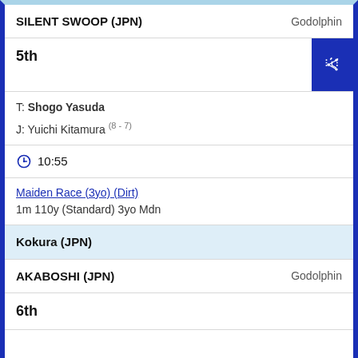SILENT SWOOP (JPN)   Godolphin
5th
T: Shogo Yasuda
J: Yuichi Kitamura (8-7)
10:55
Maiden Race (3yo) (Dirt)
1m 110y (Standard) 3yo Mdn
Kokura (JPN)
AKABOSHI (JPN)   Godolphin
6th